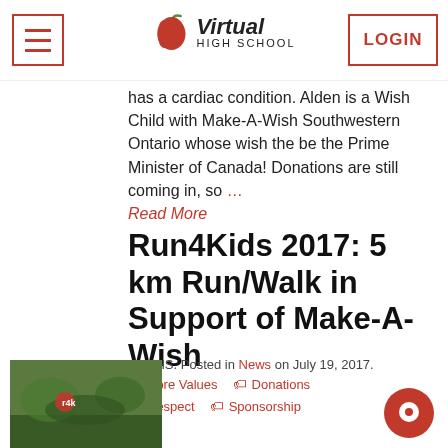Virtual High School — Navigation header with menu button and login button
has a cardiac condition. Alden is a Wish Child with Make-A-Wish Southwestern Ontario whose wish the be the Prime Minister of Canada! Donations are still coming in, so … Read More
Run4Kids 2017: 5 km Run/Walk in Support of Make-A-Wish
By VHS. Posted in News on July 19, 2017.
Core Values
Donations
Respect
Sponsorship
[Figure (photo): Run4Kids event photo with logo and outdoor scene]